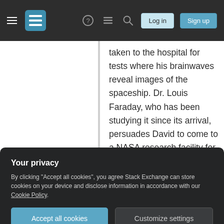[Figure (screenshot): Stack Exchange navigation bar with hamburger menu, logo, help icon, review icon, search icon, Log in and Sign up buttons on dark background]
taken to the hospital for tests where his brainwaves reveal images of the spaceship. Dr. Louis Faraday, who has been studying it since its arrival, persuades David to come to a NASA research facility for just 48 hours for extra tests, promising him that they can help him learn the truth about what happened to him. There, Dr. Faraday discovers that David's mind is filled with alien technical manuals and star charts covering expanses of the galaxy far
Your privacy
By clicking "Accept all cookies", you agree Stack Exchange can store cookies on your device and disclose information in accordance with our Cookie Policy.
Accept all cookies
Customize settings
light, explaining why eight years have